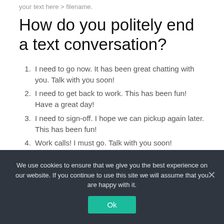your text here > filename.
How do you politely end a text conversation?
I need to go now. It has been great chatting with you. Talk with you soon!
I need to get back to work. This has been fun! Have a great day!
I need to sign-off. I hope we can pickup again later. This has been fun!
Work calls! I must go. Talk with you soon!
It's been great hearing from you. I must go for now.
We use cookies to ensure that we give you the best experience on our website. If you continue to use this site we will assume that you are happy with it.